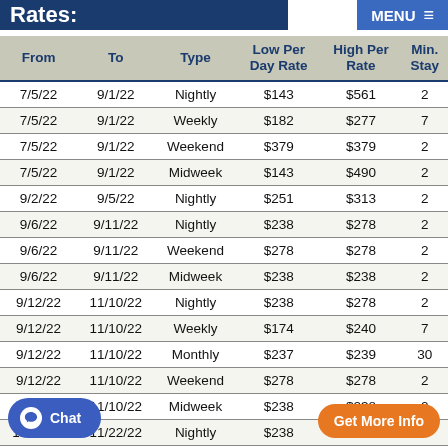Rates:
| From | To | Type | Low Per Day Rate | High Per Rate | Min. Stay |
| --- | --- | --- | --- | --- | --- |
| 7/5/22 | 9/1/22 | Nightly | $143 | $561 | 2 |
| 7/5/22 | 9/1/22 | Weekly | $182 | $277 | 7 |
| 7/5/22 | 9/1/22 | Weekend | $379 | $379 | 2 |
| 7/5/22 | 9/1/22 | Midweek | $143 | $490 | 2 |
| 9/2/22 | 9/5/22 | Nightly | $251 | $313 | 2 |
| 9/6/22 | 9/11/22 | Nightly | $238 | $278 | 2 |
| 9/6/22 | 9/11/22 | Weekend | $278 | $278 | 2 |
| 9/6/22 | 9/11/22 | Midweek | $238 | $238 | 2 |
| 9/12/22 | 11/10/22 | Nightly | $238 | $278 | 2 |
| 9/12/22 | 11/10/22 | Weekly | $174 | $240 | 7 |
| 9/12/22 | 11/10/22 | Monthly | $237 | $239 | 30 |
| 9/12/22 | 11/10/22 | Weekend | $278 | $278 | 2 |
| 9/12/22 | 11/10/22 | Midweek | $238 | $238 | 2 |
| 11/11/22 | 11/22/22 | Nightly | $238 | $278 | 2 |
| 11/11/22 | 11/22/22 | Weekly | $240 | $240 | 7 |
| 11/11/22 | 11/22/22 | Weekend | $278 | $278 | 2 |
| 11/11/22 | 11/22/22 | Midweek | $238 | $238 | 2 |